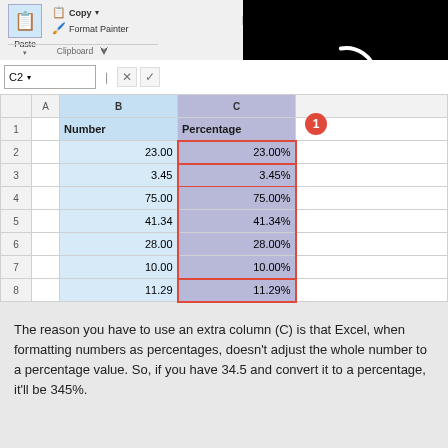[Figure (screenshot): Excel spreadsheet screenshot showing ribbon toolbar with Clipboard group (Paste, Copy, Format Painter), formula bar showing cell C2, and a spreadsheet grid with column B labeled 'Number' containing values 23.00, 3.45, 75.00, 41.34, 28.00, 10.00, 11.29 and column C labeled 'Percentage' showing 23.00%, 3.45%, 75.00%, 41.34%, 28.00%, 10.00%, 11.29%. Column C is selected with a red border. A black loading overlay is visible in the top right. Red numbered badges 1 and 3 are annotated on the screenshot.]
The reason you have to use an extra column (C) is that Excel, when formatting numbers as percentages, doesn't adjust the whole number to a percentage value. So, if you have 34.5 and convert it to a percentage, it'll be 345%.